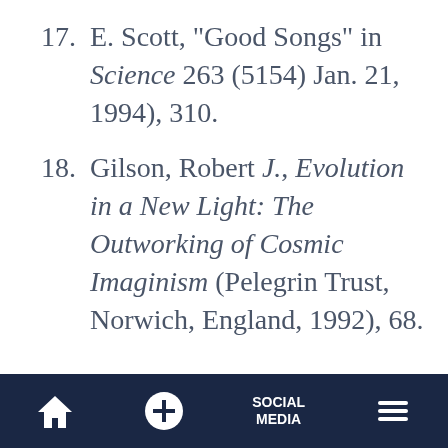17. E. Scott, "Good Songs" in Science 263 (5154) Jan. 21, 1994), 310.
18. Gilson, Robert J., Evolution in a New Light: The Outworking of Cosmic Imaginism (Pelegrin Trust, Norwich, England, 1992), 68.
Home | Add | Social Media | Menu